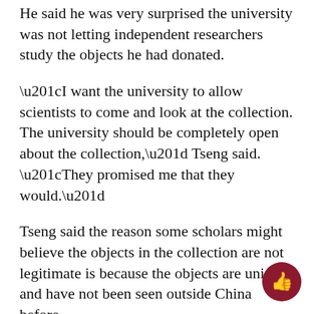He said he was very surprised the university was not letting independent researchers study the objects he had donated.
“I want the university to allow scientists to come and look at the collection. The university should be completely open about the collection,” Tseng said. “They promised me that they would.”
Tseng said the reason some scholars might believe the objects in the collection are not legitimate is because the objects are unique and have not been seen outside China before.
“Just because someone has not seen anything like this before doesn’t mean that it’s not real,” Tseng said. “Ask 10 scholars, you get 10 different opinions.”
Though Tseng said he believed in open access to the donated pieces, his views on the scholars’ offer to